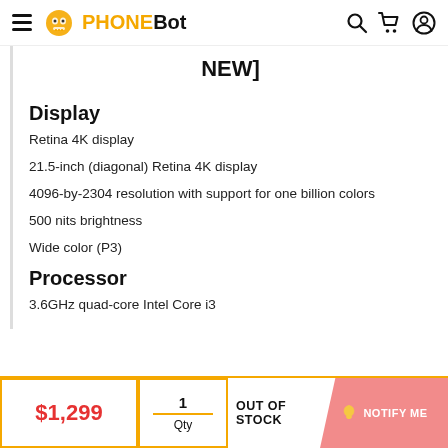PHONEBOT
NEW]
Display
Retina 4K display
21.5-inch (diagonal) Retina 4K display
4096-by-2304 resolution with support for one billion colors
500 nits brightness
Wide color (P3)
Processor
3.6GHz quad-core Intel Core i3
$1,299 | 1 Qty | OUT OF STOCK | NOTIFY ME